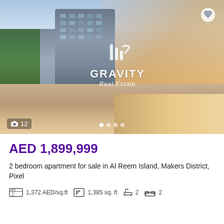[Figure (photo): Exterior rendering of a modern high-rise apartment building at waterfront promenade, sunset sky, palm trees, people walking. Gravity Real Estate logo overlay.]
AED 1,899,999
2 bedroom apartment for sale in Al Reem Island, Makers District, Pixel
1,372 AED/sq.ft   1,385 sq. ft   2 bathrooms   2 bedrooms